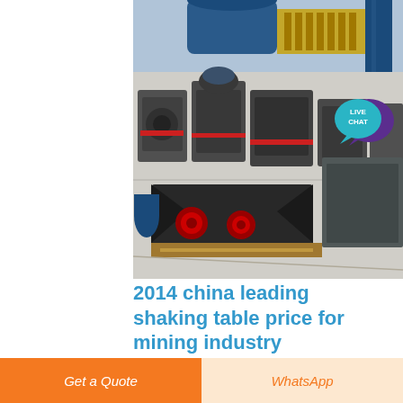[Figure (photo): Industrial mining equipment – shaking tables and jaw crushers on a factory floor, with a large cylindrical drum visible at top.]
[Figure (illustration): Live Chat button with speech bubble icon in teal and purple.]
2014 china leading shaking table price for mining industry
Gold Shaking Table j Farmer Mining Price Shaking Table
Tin and Gold ... Hot Double Deck Tin Ore Shaking Table
Get a Quote
WhatsApp